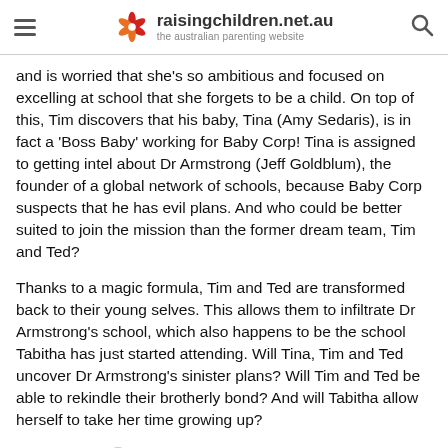raisingchildren.net.au — the australian parenting website
and is worried that she’s so ambitious and focused on excelling at school that she forgets to be a child. On top of this, Tim discovers that his baby, Tina (Amy Sedaris), is in fact a ‘Boss Baby’ working for Baby Corp! Tina is assigned to getting intel about Dr Armstrong (Jeff Goldblum), the founder of a global network of schools, because Baby Corp suspects that he has evil plans. And who could be better suited to join the mission than the former dream team, Tim and Ted?
Thanks to a magic formula, Tim and Ted are transformed back to their young selves. This allows them to infiltrate Dr Armstrong’s school, which also happens to be the school Tabitha has just started attending. Will Tina, Tim and Ted uncover Dr Armstrong’s sinister plans? Will Tim and Ted be able to rekindle their brotherly bond? And will Tabitha allow herself to take her time growing up?
Themes
The Boss Baby: Family Business has some violence. For